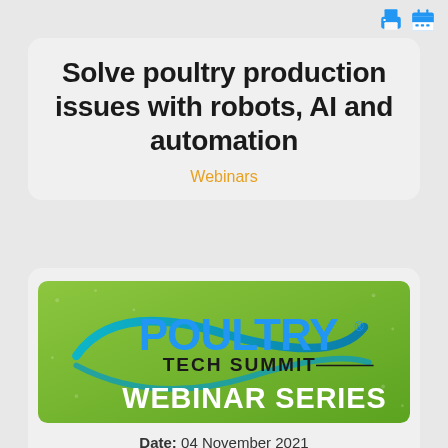Solve poultry production issues with robots, AI and automation
Webinars
[Figure (logo): Poultry Tech Summit Webinar Series banner on green background with swoosh graphic]
Date: 04 November 2021